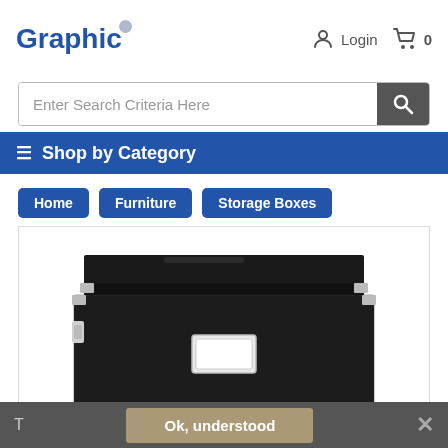Graphic | Login | 0
Enter Search Criteria Here
≡ Shop by Category
Home
Furniture
Storage Boxes
[Figure (photo): Black storage box with lid and metal label holder, partially visible]
T  Ok, understood  ✕